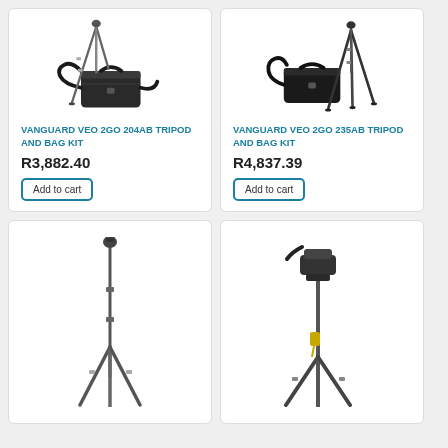[Figure (photo): Vanguard VEO 2GO 204AB tripod with ball head and black camera bag]
VANGUARD VEO 2GO 204AB TRIPOD AND BAG KIT
R3,882.40
Add to cart
[Figure (photo): Vanguard VEO 2GO 235AB tripod with ball head and black camera bag]
VANGUARD VEO 2GO 235AB TRIPOD AND BAG KIT
R4,837.39
Add to cart
[Figure (photo): Vanguard tripod with ball head, standing upright]
[Figure (photo): Vanguard monopod or tripod with fluid head and pan handle]